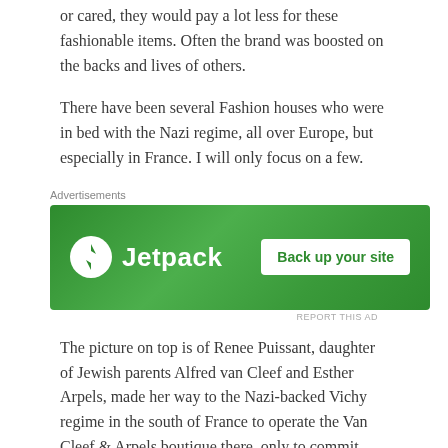or cared, they would pay a lot less for these fashionable items. Often the brand was boosted on the backs and lives of others.
There have been several Fashion houses who were in bed with the Nazi regime, all over Europe, but especially in France. I will only focus on a few.
[Figure (other): Jetpack advertisement banner with green background showing logo and 'Back up your site' button]
The picture on top is of Renee Puissant, daughter of Jewish parents Alfred van Cleef and Esther Arpels, made her way to the Nazi-backed Vichy regime in the south of France to operate the Van Cleef & Arpels boutique there, only to commit suicide by throwing herself out of a third-floor window when she understood the law requiring all Jews to wear a yellow star would apply to her, too. Her